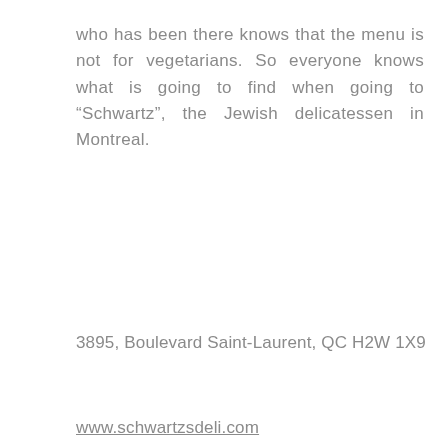who has been there knows that the menu is not for vegetarians. So everyone knows what is going to find when going to “Schwartz”, the Jewish delicatessen in Montreal.
3895, Boulevard Saint-Laurent, QC H2W 1X9
www.schwartzsdeli.com